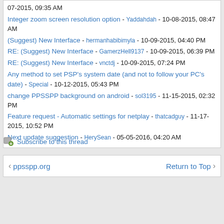07-2015, 09:35 AM
Integer zoom screen resolution option - Yaddahdah - 10-08-2015, 08:47 AM
(Suggest) New Interface - hermanhabibimyla - 10-09-2015, 04:40 PM
RE: (Suggest) New Interface - GamerzHell9137 - 10-09-2015, 06:39 PM
RE: (Suggest) New Interface - vnctdj - 10-09-2015, 07:24 PM
Any method to set PSP's system date (and not to follow your PC's date) - Special - 10-12-2015, 05:43 PM
change PPSSPP background on android - sol3195 - 11-15-2015, 02:32 PM
Feature request - Automatic settings for netplay - thatcadguy - 11-17-2015, 10:52 PM
Next update suggestion - HerySean - 05-05-2016, 04:20 AM
Subscribe to this thread
ppsspp.org   Return to Top